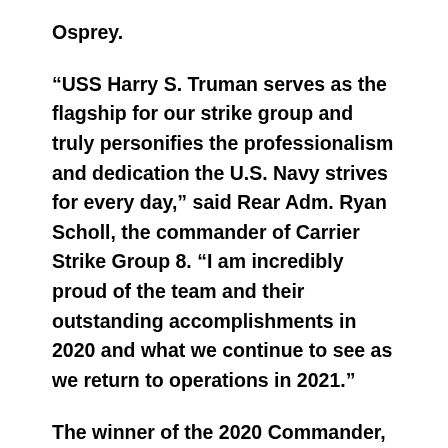Osprey.
“USS Harry S. Truman serves as the flagship for our strike group and truly personifies the professionalism and dedication the U.S. Navy strives for every day,” said Rear Adm. Ryan Scholl, the commander of Carrier Strike Group 8. “I am incredibly proud of the team and their outstanding accomplishments in 2020 and what we continue to see as we return to operations in 2021.”
The winner of the 2020 Commander, Aircraft Carrier Atlantic Battle “E”, Truman also received every